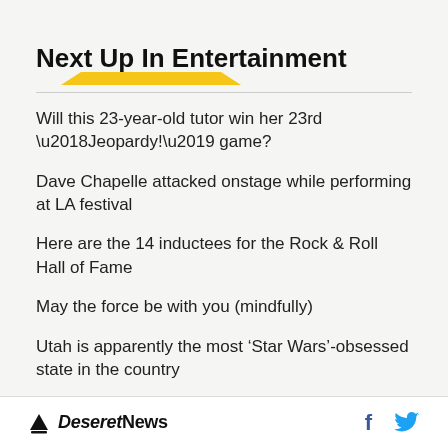Next Up In Entertainment
Will this 23-year-old tutor win her 23rd ‘Jeopardy!’ game?
Dave Chapelle attacked onstage while performing at LA festival
Here are the 14 inductees for the Rock & Roll Hall of Fame
May the force be with you (mindfully)
Utah is apparently the most ‘Star Wars’-obsessed state in the country
Five political statements guests made at the 2022 Met
Deseret News